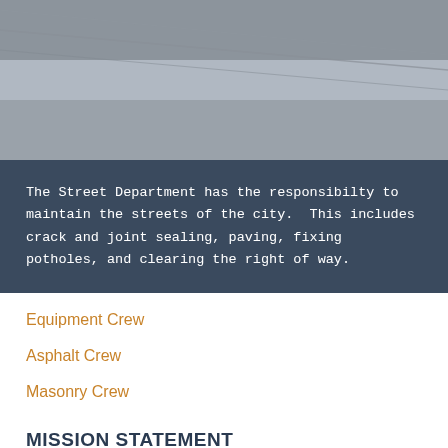[Figure (photo): Gray asphalt/road surface photo band with diagonal lines/cables visible]
The Street Department has the responsibilty to maintain the streets of the city.  This includes crack and joint sealing, paving, fixing potholes, and clearing the right of way.
Equipment Crew
Asphalt Crew
Masonry Crew
MISSION STATEMENT
To maintain the streets of the city, to keep the rights of way clear, and to help in emergencies.